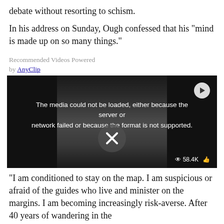debate without resorting to schism.
In his address on Sunday, Ough confessed that his "mind is made up on so many things."
Recommended Videos Powered by AnyClip
[Figure (screenshot): Embedded video player showing a man speaking, with a media error overlay reading: The media could not be loaded, either because the server or network failed or because the format is not supported. Shows a play button icon, X close button, and stats showing 58.4K views.]
"I am conditioned to stay on the map. I am suspicious or afraid of the guides who live and minister on the margins. I am becoming increasingly risk-averse. After 40 years of wandering in the